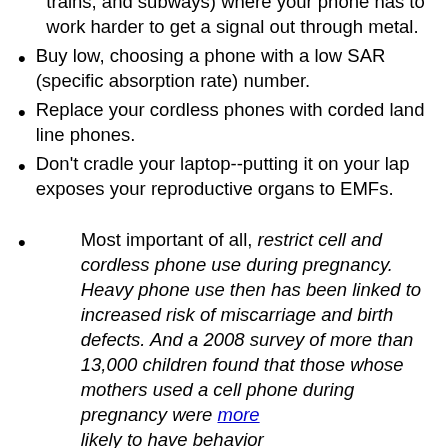trains, and subways) where your phone has to work harder to get a signal out through metal.
Buy low, choosing a phone with a low SAR (specific absorption rate) number.
Replace your cordless phones with corded land line phones.
Don't cradle your laptop--putting it on your lap exposes your reproductive organs to EMFs.
Most important of all, restrict cell and cordless phone use during pregnancy. Heavy phone use then has been linked to increased risk of miscarriage and birth defects. And a 2008 survey of more than 13,000 children found that those whose mothers used a cell phone during pregnancy were more likely to have behavior